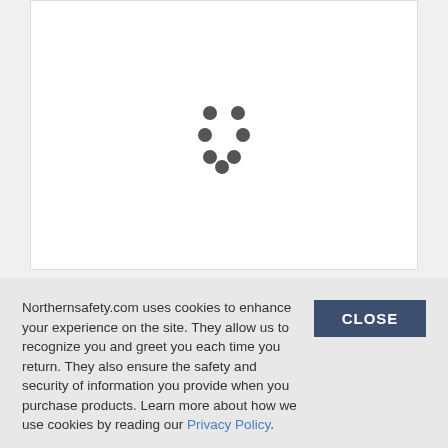[Figure (other): Loading spinner animation shown as a circular arrangement of dark grey dots on a white panel background]
Northernsafety.com uses cookies to enhance your experience on the site. They allow us to recognize you and greet you each time you return. They also ensure the safety and security of information you provide when you purchase products. Learn more about how we use cookies by reading our Privacy Policy.